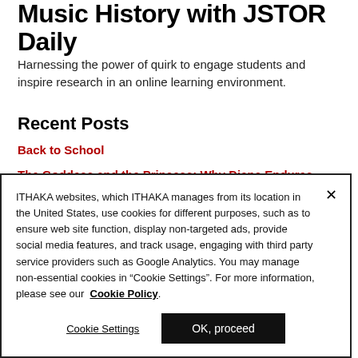Music History with JSTOR Daily
Harnessing the power of quirk to engage students and inspire research in an online learning environment.
Recent Posts
Back to School
The Goddess and the Princess: Why Diana Endures
ITHAKA websites, which ITHAKA manages from its location in the United States, use cookies for different purposes, such as to ensure web site function, display non-targeted ads, provide social media features, and track usage, engaging with third party service providers such as Google Analytics. You may manage non-essential cookies in “Cookie Settings”. For more information, please see our Cookie Policy.